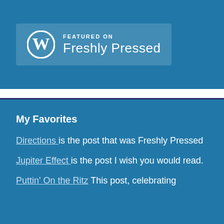[Figure (logo): WordPress 'Featured on Freshly Pressed' badge with WordPress logo (W in circle) on the left and text 'FEATURED ON Freshly Pressed' on the right, displayed on a blue background]
My Favorites
Directions is the post that was Freshly Pressed
Jupiter Effect is the post I wish you would read.
Puttin' On the Ritz This post, celebrating